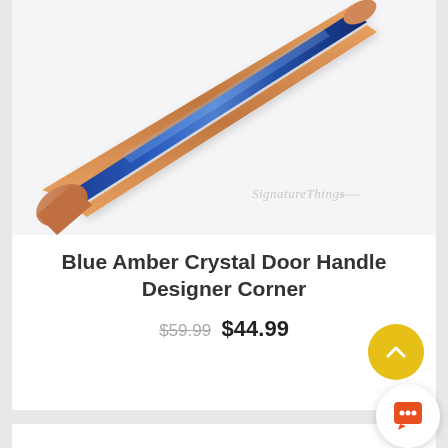[Figure (photo): A blue crystal door handle with rose gold/copper metallic ends, photographed on a white background. The handle is shown diagonally. A 'SignatureThings' watermark is visible in the lower right of the image.]
Blue Amber Crystal Door Handle Designer Corner
$59.99  $44.99
View Options